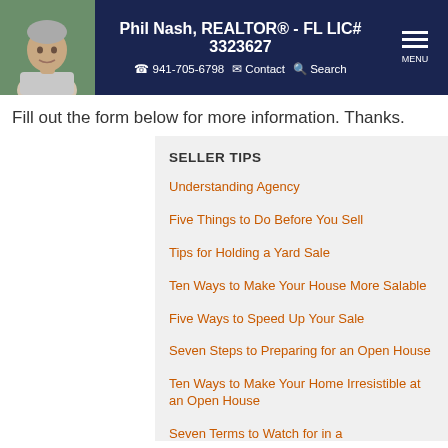Phil Nash, REALTOR® - FL LIC# 3323627 | 941-705-6798 | Contact | Search | MENU
Fill out the form below for more information. Thanks.
SELLER TIPS
Understanding Agency
Five Things to Do Before You Sell
Tips for Holding a Yard Sale
Ten Ways to Make Your House More Salable
Five Ways to Speed Up Your Sale
Seven Steps to Preparing for an Open House
Ten Ways to Make Your Home Irresistible at an Open House
Seven Terms to Watch for in a